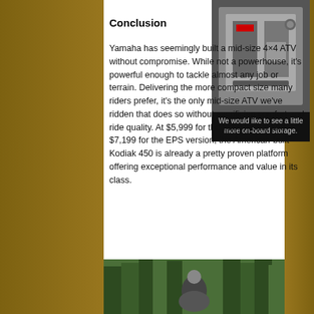Conclusion
[Figure (photo): Close-up of ATV storage compartment, open lid showing interior with tools/items inside]
We would like to see a little more on-board storage.
Yamaha has seemingly built a mid-size 4×4 ATV without compromise. While not a powerhouse, it's powerful enough to tackle almost any job or terrain. Delivering the more compact size many riders prefer, it's the only mid-size ATV we've ridden that does so without sacrificing comfort and ride quality. At $5,999 for the base model and $7,199 for the EPS version, the American-built Kodiak 450 is already a pretty proven platform offering exceptional performance and value in its class.
[Figure (photo): Rider on ATV in forest setting, trees in background]